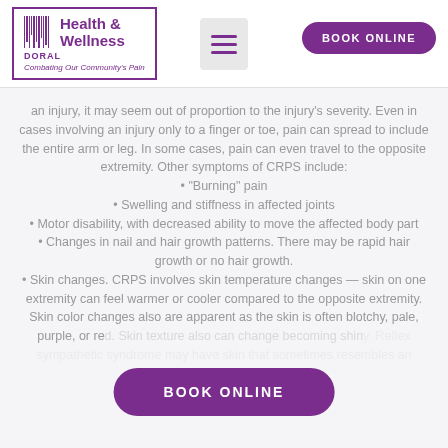[Figure (logo): Doral Health & Wellness logo with barcode graphic and tagline 'Combating Our Community's Pain']
an injury, it may seem out of proportion to the injury's severity. Even in cases involving an injury only to a finger or toe, pain can spread to include the entire arm or leg. In some cases, pain can even travel to the opposite extremity. Other symptoms of CRPS include:
"Burning" pain
Swelling and stiffness in affected joints
Motor disability, with decreased ability to move the affected body part
Changes in nail and hair growth patterns. There may be rapid hair growth or no hair growth.
Skin changes. CRPS involves skin temperature changes — skin on one extremity can feel warmer or cooler compared to the opposite extremity. Skin color changes also are apparent as the skin is often blotchy, pale, purple, or red. Skin texture also can change becoming shiny. Reflex sympathetic syndrome may have skin that sometimes resembles an orange...